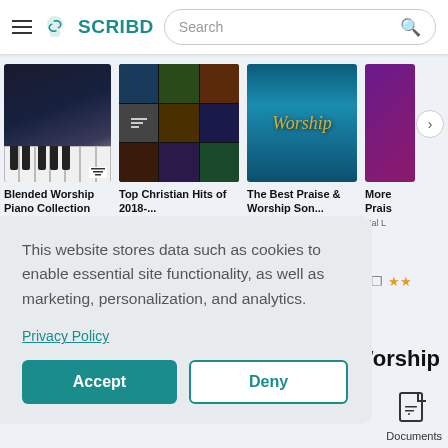SCRIBD — Search bar
[Figure (screenshot): Book cover: Blended Worship Piano Collection — piano keys image with Hal Leonard logo]
[Figure (screenshot): Book cover: Top Christian Hits of 2018-... — grid of album thumbnails]
[Figure (screenshot): Book cover: The Best Praise & Worship Son... — blue Worship text on blue background]
[Figure (screenshot): Book cover: More Praise (partial) — purple/pink background]
Blended Worship Piano Collection
Top Christian Hits of 2018-...
The Best Praise & Worship Son...
More Praise
Hal Leonard LLC
Hal Leonard LLC
Hal Leonard LLC
Hal L
(5/5)
This website stores data such as cookies to enable essential site functionality, as well as marketing, personalization, and analytics.
Privacy Policy
Accept
Deny
Worship
Documents